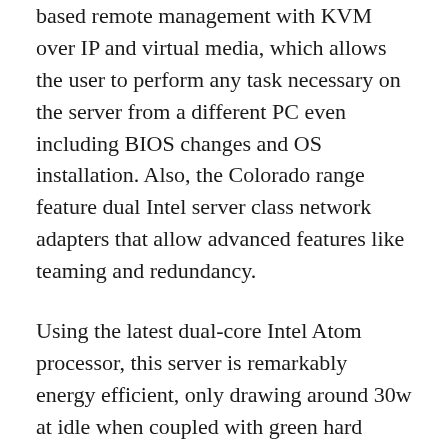based remote management with KVM over IP and virtual media, which allows the user to perform any task necessary on the server from a different PC even including BIOS changes and OS installation. Also, the Colorado range feature dual Intel server class network adapters that allow advanced features like teaming and redundancy.
Using the latest dual-core Intel Atom processor, this server is remarkably energy efficient, only drawing around 30w at idle when coupled with green hard drives.
Windows is installed on the internal 2.5" hard drive, leaving all of the space on the data drives free. The data drives are housed in hot-swap bays and can be configured as RAID 5 or RAID 10 to